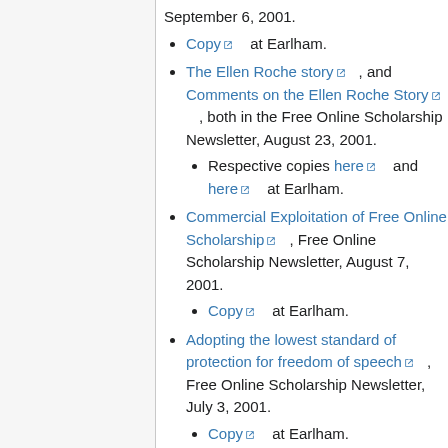September 6, 2001.
Copy at Earlham.
The Ellen Roche story, and Comments on the Ellen Roche Story, both in the Free Online Scholarship Newsletter, August 23, 2001.
Respective copies here and here at Earlham.
Commercial Exploitation of Free Online Scholarship, Free Online Scholarship Newsletter, August 7, 2001.
Copy at Earlham.
Adopting the lowest standard of protection for freedom of speech, Free Online Scholarship Newsletter, July 3, 2001.
Copy at Earlham.